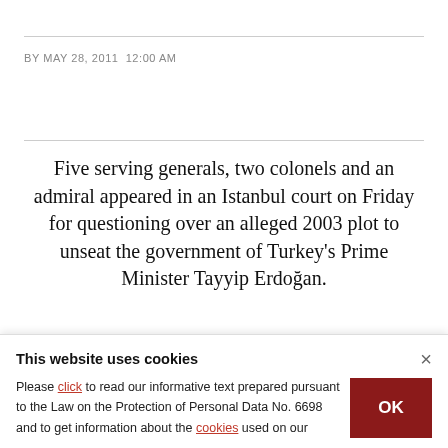BY MAY 28, 2011 12:00 AM
Five serving generals, two colonels and an admiral appeared in an Istanbul court on Friday for questioning over an alleged 2003 plot to unseat the government of Turkey’s Prime Minister Tayyip Erdoğan.
he move by prosecutors to call such senior
This website uses cookies
Please click to read our informative text prepared pursuant to the Law on the Protection of Personal Data No. 6698 and to get information about the cookies used on our